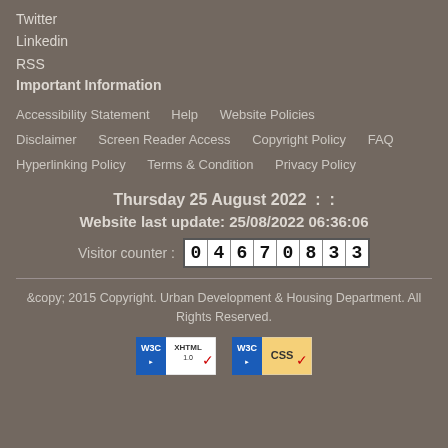Twitter
Linkedin
RSS
Important Information
Accessibility Statement   Help   Website Policies
Disclaimer   Screen Reader Access   Copyright Policy   FAQ
Hyperlinking Policy   Terms & Condition   Privacy Policy
Thursday 25 August 2022  :  :
Website last update: 25/08/2022 06:36:06
Visitor counter : 04670833
&copy; 2015 Copyright. Urban Development & Housing Department. All Rights Reserved.
[Figure (logo): W3C XHTML 1.0 validation badge]
[Figure (logo): W3C CSS validation badge]